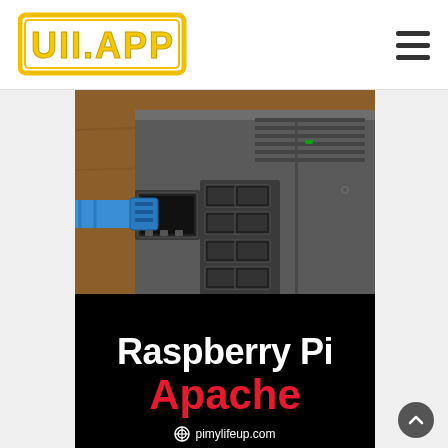UII.APP
[Figure (photo): Close-up photo of a Raspberry Pi in a metal case with a blue Ethernet cable plugged in and USB ports visible, sitting on a wooden surface. Below the photo is a black banner overlay reading 'Raspberry Pi Apache' with pimylifeup.com branding.]
[Figure (photo): Partial bottom photo showing a blue cable and wooden surface, continuation of the Raspberry Pi setup photo.]